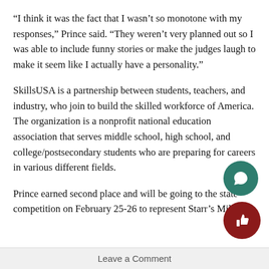“I think it was the fact that I wasn’t so monotone with my responses,” Prince said. “They weren’t very planned out so I was able to include funny stories or make the judges laugh to make it seem like I actually have a personality.”
SkillsUSA is a partnership between students, teachers, and industry, who join to build the skilled workforce of America. The organization is a nonprofit national education association that serves middle school, high school, and college/postsecondary students who are preparing for careers in various different fields.
Prince earned second place and will be going to the state competition on February 25-26 to represent Starr’s Mill.
Leave a Comment